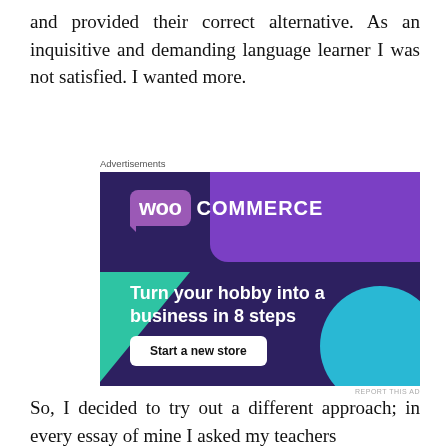and provided their correct alternative. As an inquisitive and demanding language learner I was not satisfied. I wanted more.
[Figure (other): WooCommerce advertisement banner with dark purple background, green triangle shape, blue circle, WooCommerce logo, headline 'Turn your hobby into a business in 8 steps', and 'Start a new store' button]
Advertisements
REPORT THIS AD
So, I decided to try out a different approach; in every essay of mine I asked my teachers